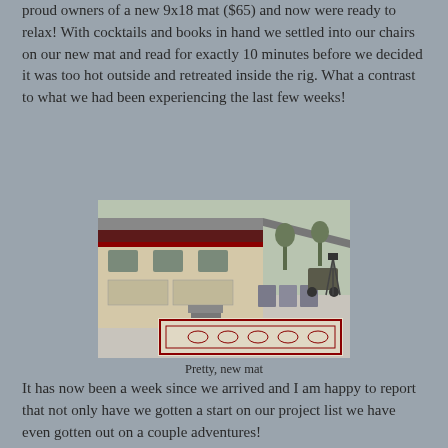proud owners of a new 9x18 mat ($65) and now were ready to relax! With cocktails and books in hand we settled into our chairs on our new mat and read for exactly 10 minutes before we decided it was too hot outside and retreated inside the rig. What a contrast to what we had been experiencing the last few weeks!
[Figure (photo): Outdoor photo of a large RV/motorhome with chairs and a decorative outdoor mat (cream and dark red pattern) set up alongside it on a concrete pad. An ATV and camera tripod are visible in the background.]
Pretty, new mat
It has now been a week since we arrived and I am happy to report that not only have we gotten a start on our project list we have even gotten out on a couple adventures!